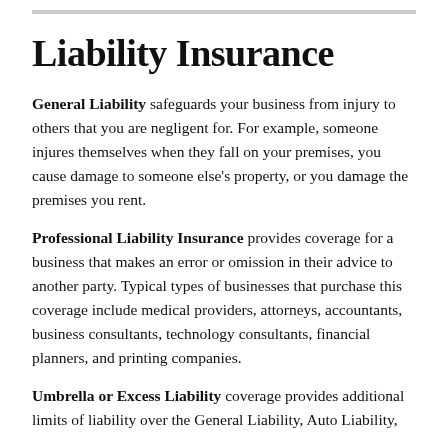Liability Insurance
General Liability safeguards your business from injury to others that you are negligent for. For example, someone injures themselves when they fall on your premises, you cause damage to someone else's property, or you damage the premises you rent.
Professional Liability Insurance provides coverage for a business that makes an error or omission in their advice to another party. Typical types of businesses that purchase this coverage include medical providers, attorneys, accountants, business consultants, technology consultants, financial planners, and printing companies.
Umbrella or Excess Liability coverage provides additional limits of liability over the General Liability, Auto Liability,